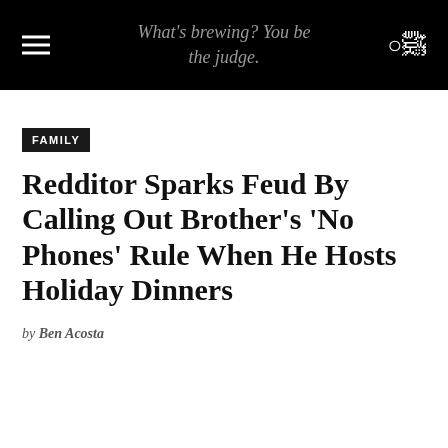What's brewing? You be the judge.
FAMILY
Redditor Sparks Feud By Calling Out Brother’s ‘No Phones’ Rule When He Hosts Holiday Dinners
by Ben Acosta